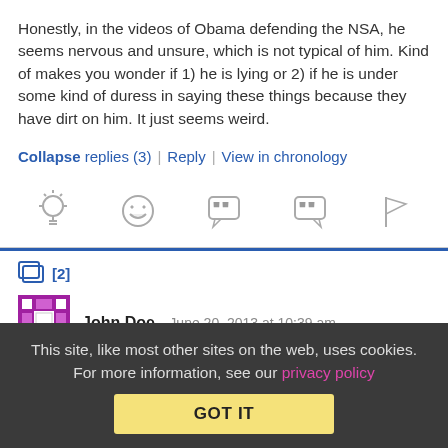Honestly, in the videos of Obama defending the NSA, he seems nervous and unsure, which is not typical of him. Kind of makes you wonder if 1) he is lying or 2) if he is under some kind of duress in saying these things because they have dirt on him. It just seems weird.
Collapse replies (3) | Reply | View in chronology
[Figure (infographic): Row of 5 icon buttons: lightbulb, laughing face, open quote bubble, close quote bubble, flag]
[2]
[Figure (illustration): Mosaic/pixel avatar for user John Doe - purple and white square pattern]
John Doe   June 20, 2013 at 10:39 am
This site, like most other sites on the web, uses cookies. For more information, see our privacy policy
GOT IT